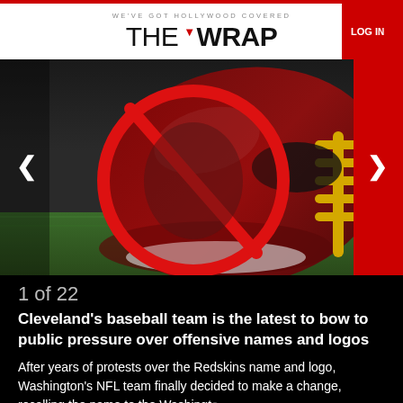WE'VE GOT HOLLYWOOD COVERED — THE WRAP — LOG IN
[Figure (photo): Washington NFL team football helmet on grass field with a red circle-slash prohibition symbol overlaid on the team logo. Navigation arrows visible on left and right sides.]
1 of 22
Cleveland's baseball team is the latest to bow to public pressure over offensive names and logos
After years of protests over the Redskins name and logo, Washington's NFL team finally decided to make a change, recalling the name to the Washington...